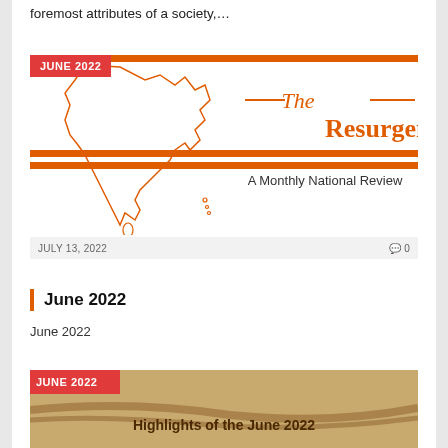foremost attributes of a society,…
[Figure (illustration): Cover image of The Resurgent India magazine, June 2022, showing outline map of India in orange on white background, with title 'The Resurgent Indi' and subtitle 'A Monthly National Review', with an orange horizontal bar across the middle.]
JULY 13, 2022    ◎ 0
June 2022
June 2022
[Figure (illustration): Bottom card showing orange badge 'JUNE 2022' and text 'Highlights of the June 2022' on a tan/brown textured background.]